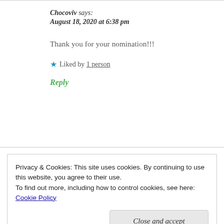Chocoviv says:
August 18, 2020 at 6:38 pm
Thank you for your nomination!!!
Liked by 1 person
Reply
Privacy & Cookies: This site uses cookies. By continuing to use this website, you agree to their use.
To find out more, including how to control cookies, see here: Cookie Policy
Close and accept